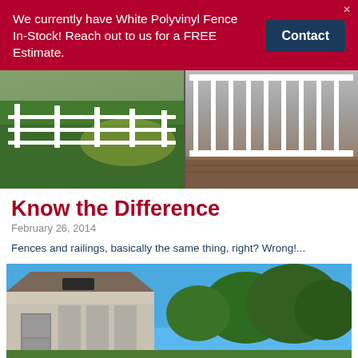We currently have White Polyvinyl Fence In-Stock! Reach out to us for a FREE Estimate.
Contact
[Figure (photo): Two side-by-side photos: left shows a white vinyl split-rail fence along a green lawn; right shows white vinyl deck railing on a porch/deck.]
Know the Difference
February 26, 2014
Fences and railings, basically the same thing, right? Wrong!...
[Figure (photo): Photo of a building exterior with a screened porch/sunroom addition, surrounded by trees under a blue sky.]